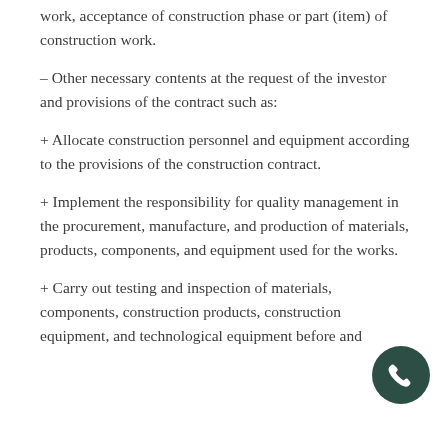work, acceptance of construction phase or part (item) of construction work.
– Other necessary contents at the request of the investor and provisions of the contract such as:
+ Allocate construction personnel and equipment according to the provisions of the construction contract.
+ Implement the responsibility for quality management in the procurement, manufacture, and production of materials, products, components, and equipment used for the works.
+ Carry out testing and inspection of materials, components, construction products, construction equipment, and technological equipment before and
[Figure (illustration): Dark teal circular phone/call button icon in the bottom right corner of the page]